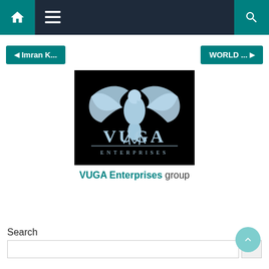Navigation bar with home, menu, and search icons
◄ Imran K...
WORLD ... ►
[Figure (logo): VUGA Enterprises logo — a light blue eagle in flight on a black background with text VUGA ENTERPRISES below]
VUGA Enterprises group
Search